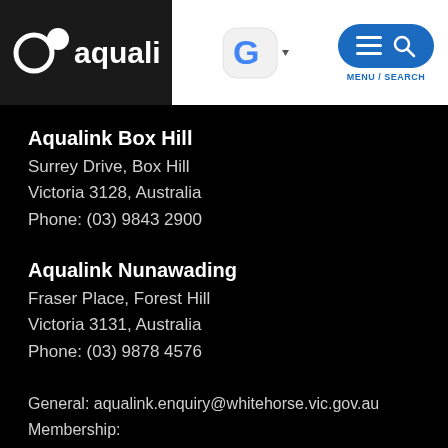[Figure (logo): Aqualink logo — white circular icons and text 'aqualink' on dark background]
[Figure (logo): Google 'G' logo with dropdown arrow]
[Figure (infographic): Blue pill-shaped button with hamburger menu icon and search icon, labelled MENU / SEARCH]
Aqualink Box Hill
Surrey Drive, Box Hill
Victoria 3128, Australia
Phone: (03) 9843 2900
Aqualink Nunawading
Fraser Place, Forest Hill
Victoria 3131, Australia
Phone: (03) 9878 4576
General: aqualink.enquiry@whitehorse.vic.gov.au
Membership:
aqualink.membership@whitehorse.vic.gov.au